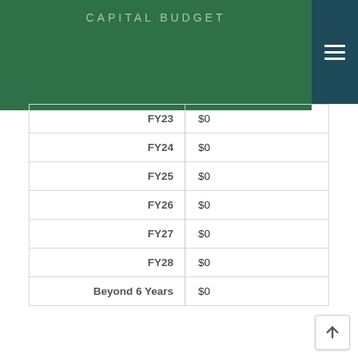CAPITAL BUDGET
| Label | Value |
| --- | --- |
| FY23 | $0 |
| FY24 | $0 |
| FY25 | $0 |
| FY26 | $0 |
| FY27 | $0 |
| FY28 | $0 |
| Beyond 6 Years | $0 |
| Cost Element | Land |
| --- | --- |
| Cost Element | Land |
| Total | $0 |